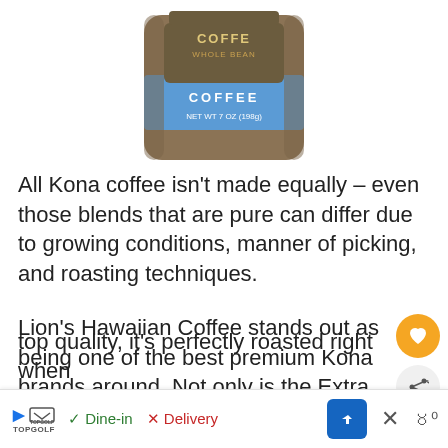[Figure (photo): Coffee bag product image - shows a bag of Kona coffee labeled 'COFFEE NET WT 7 OZ (198g)' with blue and brown packaging]
All Kona coffee isn't made equally – even those blends that are pure can differ due to growing conditions, manner of picking, and roasting techniques.
Lion's Hawaiian Coffee stands out as being one of the best premium Kona brands around. Not only is the Extra Fancy coffee used in the company's blend hand-picked for top quality, it's perfectly roasted right when yo...